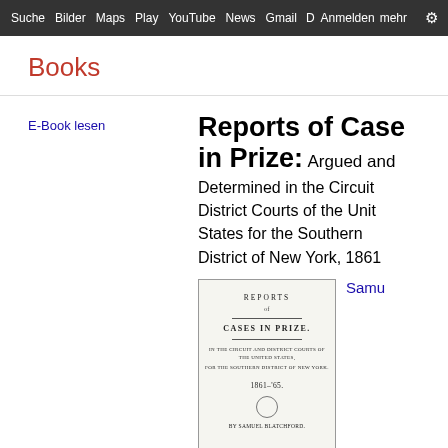Suche  Bilder  Maps  Play  YouTube  News  Gmail  D'Anmeldehr  Anmelden  mehr
Books
Reports of Cases in Prize: Argued and Determined in the Circuit and District Courts of the United States for the Southern District of New York, 1861
E-Book lesen
Samu
[Figure (photo): Scanned cover page of the book 'Reports of Cases in Prize' showing title text, subtitle, year 1861-'65, and author Samuel Blatchford]